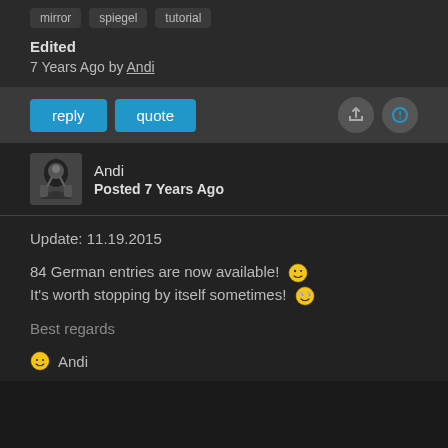mirror
spiegel
tutorial
Edited
7 Years Ago by Andi
reply  quote
Andi
Posted 7 Years Ago
Update: 11.19.2015
84 German entries are now available! It's worth stopping by itself sometimes!
Best regards
Andi